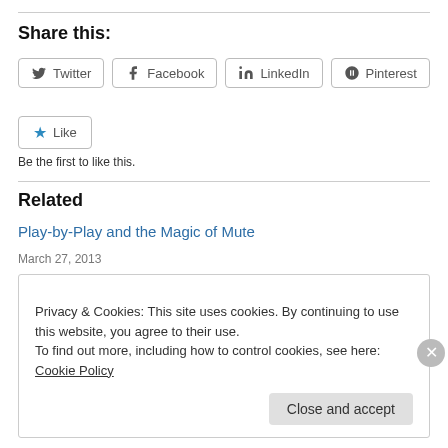Share this:
Twitter
Facebook
LinkedIn
Pinterest
Like
Be the first to like this.
Related
Play-by-Play and the Magic of Mute
March 27, 2013
Privacy & Cookies: This site uses cookies. By continuing to use this website, you agree to their use.
To find out more, including how to control cookies, see here: Cookie Policy
Close and accept